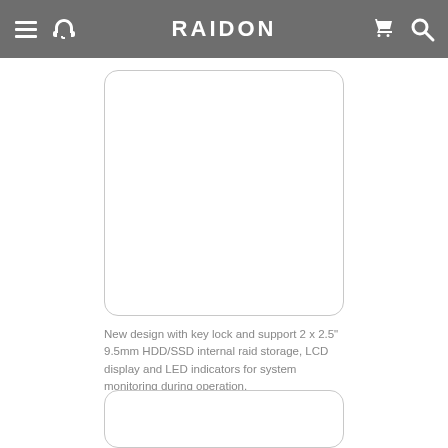RAIDON
[Figure (photo): Product image placeholder box (top) - white rounded rectangle with light gray border]
New design with key lock and support 2 x 2.5" 9.5mm HDD/SSD internal raid storage, LCD display and LED indicators for system monitoring during operation.
[Figure (photo): Product image placeholder box (bottom) - white rounded rectangle with light gray border]